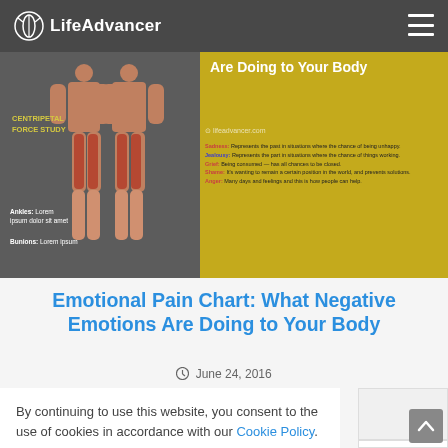LifeAdvancer
[Figure (infographic): Hero banner showing a body anatomy infographic on dark grey background on the left (with text 'CENTRIPETAL FORCE STUDY', 'Ankles', 'Bunions') and golden/yellow background on the right with text about negative emotions and lifeadvancer.com watermark]
Emotional Pain Chart: What Negative Emotions Are Doing to Your Body
June 24, 2016
By continuing to use this website, you consent to the use of cookies in accordance with our Cookie Policy.
ACCEPT